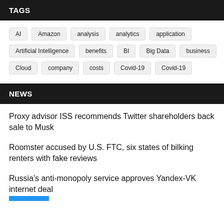TAGS
AI
Amazon
analysis
analytics
application
Artificial Intelligence
benefits
BI
Big Data
business
Cloud
company
costs
Covid-19
Covid-19
NEWS
Proxy advisor ISS recommends Twitter shareholders back sale to Musk
Roomster accused by U.S. FTC, six states of bilking renters with fake reviews
Russia's anti-monopoly service approves Yandex-VK internet deal